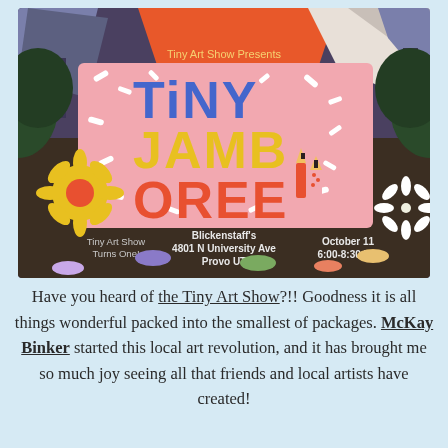[Figure (illustration): Colorful illustrated event poster for 'Tiny Jamboree' by Tiny Art Show. Shows large pink sign with bold colorful text 'TINY JAMBOREE' on a dark brown background with illustrated flowers, leaves, confetti, and small figures. Text on poster: 'Tiny Art Show Presents', 'Tiny Art Show Turns One!', 'Blickenstaff's 4801 N University Ave Provo UT', 'October 11 6:00-8:30 PM']
Have you heard of the Tiny Art Show?!! Goodness it is all things wonderful packed into the smallest of packages. McKay Binker started this local art revolution, and it has brought me so much joy seeing all that friends and local artists have created!